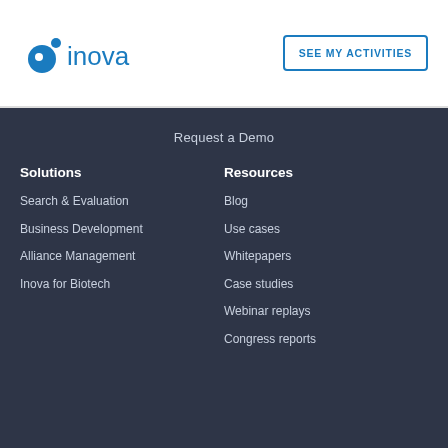[Figure (logo): Inova logo: blue circular icon with dot and letter i, followed by 'inova' in blue text]
SEE MY ACTIVITIES
Request a Demo
Solutions
Resources
Search & Evaluation
Blog
Business Development
Use cases
Alliance Management
Whitepapers
Inova for Biotech
Case studies
Webinar replays
Congress reports